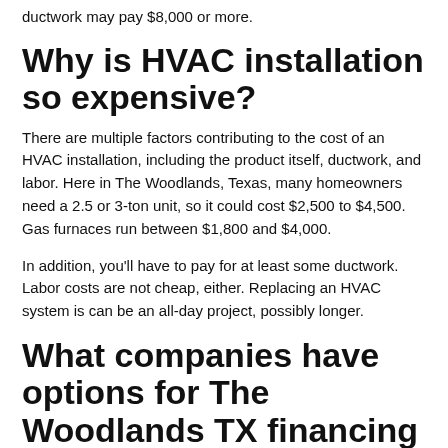ductwork may pay $8,000 or more.
Why is HVAC installation so expensive?
There are multiple factors contributing to the cost of an HVAC installation, including the product itself, ductwork, and labor. Here in The Woodlands, Texas, many homeowners need a 2.5 or 3-ton unit, so it could cost $2,500 to $4,500. Gas furnaces run between $1,800 and $4,000.
In addition, you’ll have to pay for at least some ductwork. Labor costs are not cheap, either. Replacing an HVAC system is can be an all-day project, possibly longer.
What companies have options for The Woodlands TX financing for air conditioning?